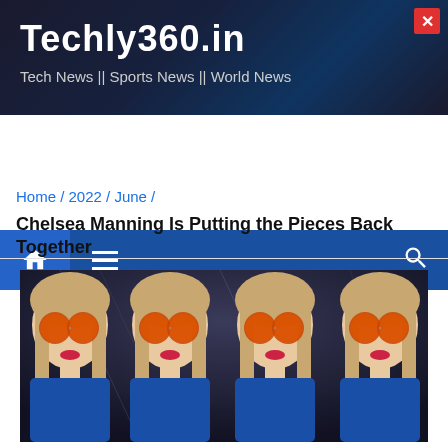Techly360.in — Tech News || Sports News || World News
[Figure (screenshot): Navigation bar with home icon, hamburger menu, and search icon on blue background]
Home / 2022 / June /
Chelsea Manning Is Putting the Pieces Back Together
[Figure (photo): A repeated collage of Chelsea Manning wearing orange tinted round sunglasses and a blue top, set against a dark background with light streak effects. The same portrait is tiled horizontally four times.]